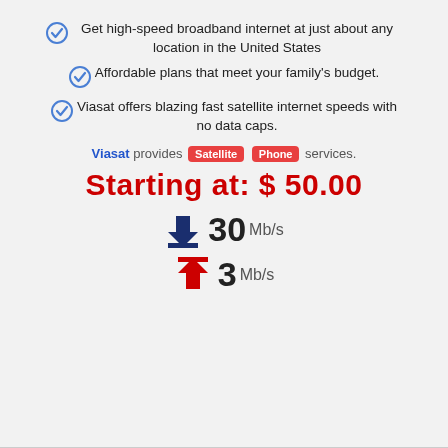Get high-speed broadband internet at just about any location in the United States
Affordable plans that meet your family's budget.
Viasat offers blazing fast satellite internet speeds with no data caps.
Viasat provides Satellite Phone services.
Starting at: $ 50.00
30 Mb/s (download)
3 Mb/s (upload)